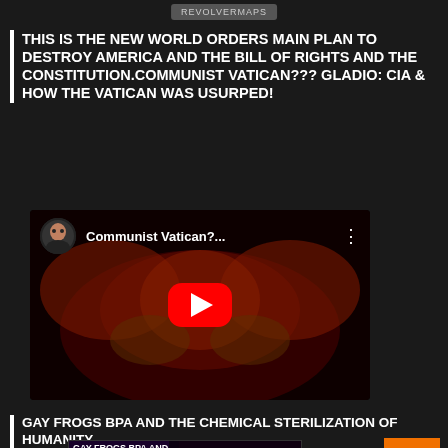REVOLVERMAPS
THIS IS THE NEW WORLD ORDERS MAIN PLAN TO DESTROY AMERICA AND THE BILL OF RIGHTS AND THE CONSTITUTION.COMMUNIST VATICAN??? GLADIO: CIA & HOW THE VATICAN WAS USURPED!
[Figure (screenshot): YouTube video embed showing 'Communist Vatican?...' with red play button, dark background with fiery bird imagery, and channel avatar]
GAY FROGS BPA AND THE CHEMICAL STERILIZATION OF HUMANITY
[Figure (screenshot): Video player showing 'GAY FROGS BPA AND...' with 'No compatible source was found for this media.' error message and X icon, dark background with frog imagery]
[Figure (other): Orange button with upward arrow (scroll to top)]